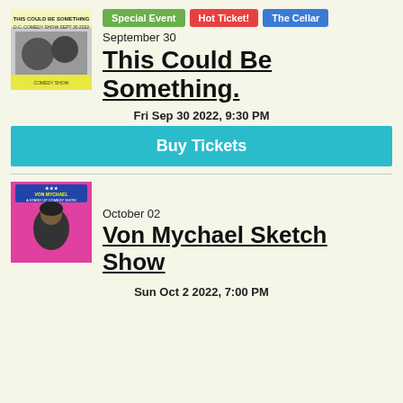[Figure (photo): Poster for This Could Be Something comedy event on Sept 30]
Special Event | Hot Ticket! | The Cellar
September 30
This Could Be Something.
Fri Sep 30 2022, 9:30 PM
Buy Tickets
[Figure (photo): Poster for Von Mychael Sketch Show comedy event on Oct 02]
October 02
Von Mychael Sketch Show
Sun Oct 2 2022, 7:00 PM